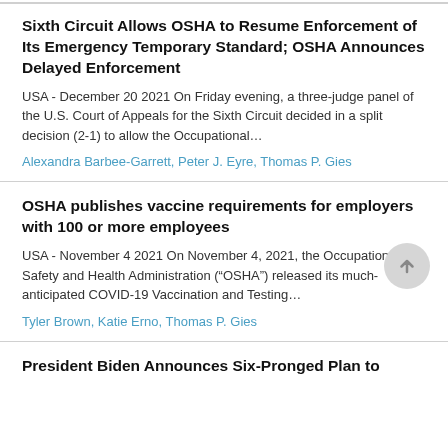Sixth Circuit Allows OSHA to Resume Enforcement of Its Emergency Temporary Standard; OSHA Announces Delayed Enforcement
USA - December 20 2021 On Friday evening, a three-judge panel of the U.S. Court of Appeals for the Sixth Circuit decided in a split decision (2-1) to allow the Occupational...
Alexandra Barbee-Garrett, Peter J. Eyre, Thomas P. Gies
OSHA publishes vaccine requirements for employers with 100 or more employees
USA - November 4 2021 On November 4, 2021, the Occupational Safety and Health Administration (“OSHA”) released its much-anticipated COVID-19 Vaccination and Testing...
Tyler Brown, Katie Erno, Thomas P. Gies
President Biden Announces Six-Pronged Plan to